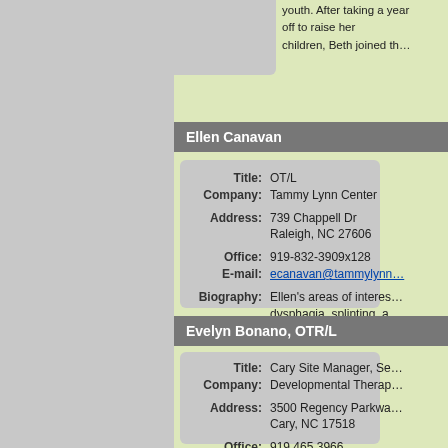youth. After taking a year off to raise her children, Beth joined th…
Ellen Canavan
| Field | Value |
| --- | --- |
| Title: | OT/L |
| Company: | Tammy Lynn Center |
| Address: | 739 Chappell Dr
Raleigh, NC 27606 |
| Office: | 919-832-3909x128 |
| E-mail: | ecanavan@tammylynn… |
| Biography: | Ellen's areas of interest… dysphagia, splinting, a… MU/SPMD. |
Evelyn Bonano, OTR/L
| Field | Value |
| --- | --- |
| Title: | Cary Site Manager, Se… |
| Company: | Developmental Therap… |
| Address: | 3500 Regency Parkwa…
Cary, NC 17518 |
| Office: | 919.465.3966 |
| E-mail: | otmomma@nc.rr.com… |